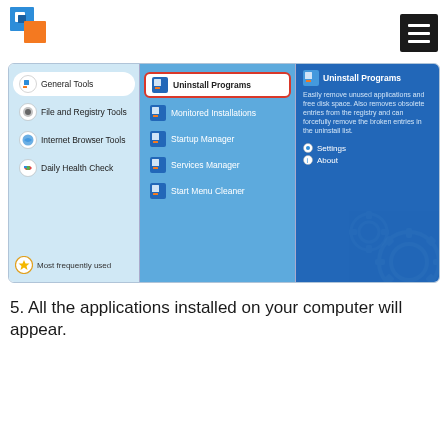[Figure (screenshot): Screenshot of a software application (likely CCleaner or similar PC utility) showing a menu with General Tools selected, and Uninstall Programs highlighted in the middle panel with a red border. The right panel shows description text for Uninstall Programs and gears graphic.]
5. All the applications installed on your computer will appear.